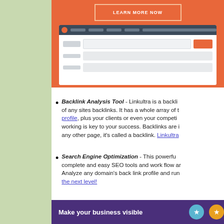[Figure (screenshot): HubSpot-like CRM interface mockup on orange background with LEARN MORE NOW button]
Backlink Analysis Tool - Linkultra is a backlink analysis tool that gives you a full breakdown of any sites backlinks. It has a whole array of tools to analyze your own backlink profile, plus your clients or even your competitors. Knowing what's working is key to your success. Backlinks are important. When a page links to any other page, it's called a backlink. Linkultra
Search Engine Optimization - This powerful platform gives you complete and easy SEO tools and work flow and workflow to manage. Analyze any domain's back link profile and run... the next level!
Make your business visible